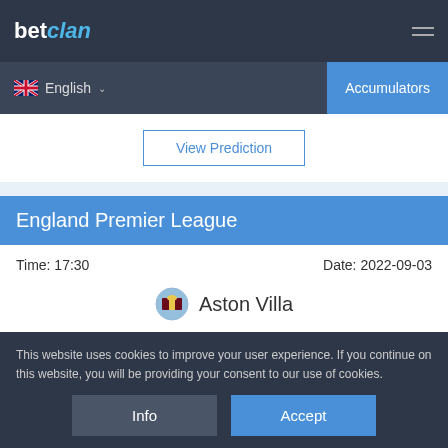betclan
English
Accumulators
View Prediction
England Premier League
Time: 17:30   Date: 2022-09-03
Aston Villa vs Man City
This website uses cookies to improve your user experience. If you continue on this website, you will be providing your consent to our use of cookies.
Info
Accept